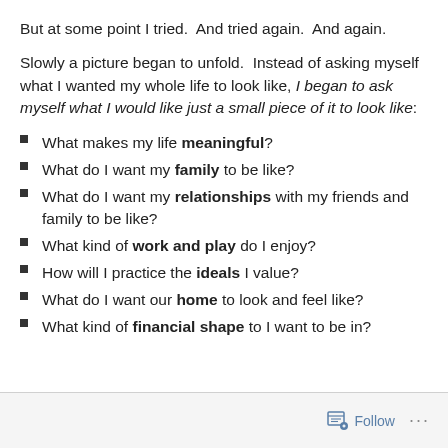But at some point I tried.  And tried again.  And again.
Slowly a picture began to unfold.  Instead of asking myself what I wanted my whole life to look like, I began to ask myself what I would like just a small piece of it to look like:
What makes my life meaningful?
What do I want my family to be like?
What do I want my relationships with my friends and family to be like?
What kind of work and play do I enjoy?
How will I practice the ideals I value?
What do I want our home to look and feel like?
What kind of financial shape to I want to be in?
Follow ...